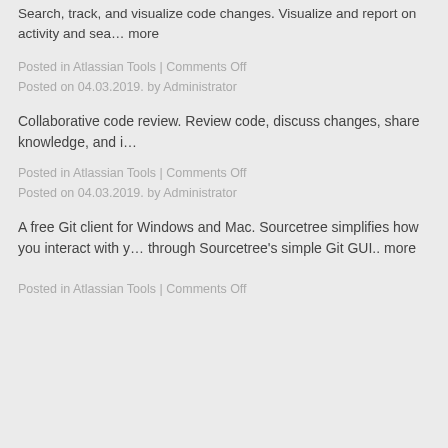Search, track, and visualize code changes. Visualize and report on activity and sea… more
Posted in Atlassian Tools | Comments Off
Posted on 04.03.2019. by Administrator
Collaborative code review. Review code, discuss changes, share knowledge, and i…
Posted in Atlassian Tools | Comments Off
Posted on 04.03.2019. by Administrator
A free Git client for Windows and Mac. Sourcetree simplifies how you interact with y… through Sourcetree's simple Git GUI.. more
Posted in Atlassian Tools | Comments Off